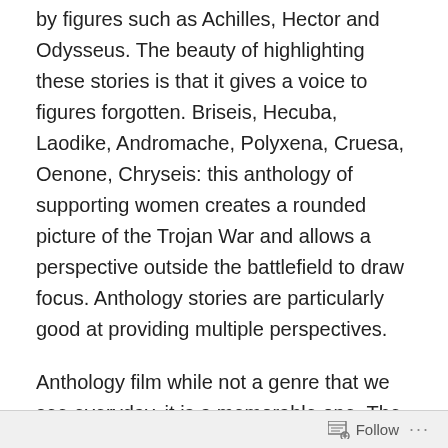by figures such as Achilles, Hector and Odysseus. The beauty of highlighting these stories is that it gives a voice to figures forgotten. Briseis, Hecuba, Laodike, Andromache, Polyxena, Cruesa, Oenone, Chryseis: this anthology of supporting women creates a rounded picture of the Trojan War and allows a perspective outside the battlefield to draw focus. Anthology stories are particularly good at providing multiple perspectives.
Anthology film while not a genre that we see everyday, it is a memorable one. The lines of definition can blur but for our purposes today we shall say Anthology films are ones that tells multiple stories independent from one another and are usually strung together by theme or subject matter. I think there is an important distinction between
Follow ···